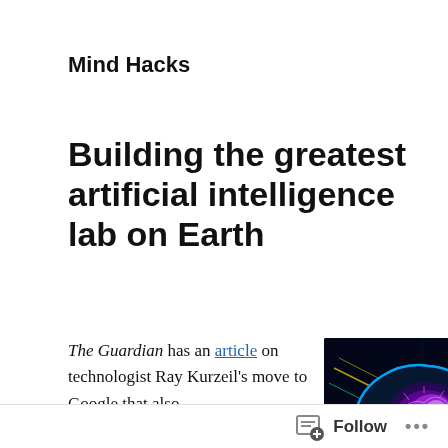Mind Hacks
Building the greatest artificial intelligence lab on Earth
The Guardian has an article on technologist Ray Kurzeil's move to Google that also
[Figure (illustration): Digital illustration of a human head profile with a glowing brain filled with circuit patterns and neon blue/purple/green lights against a dark background, representing artificial intelligence.]
Follow ...